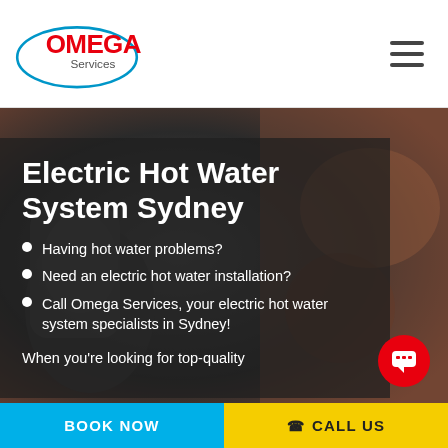Omega Services logo and navigation
Electric Hot Water System Sydney
Having hot water problems?
Need an electric hot water installation?
Call Omega Services, your electric hot water system specialists in Sydney!
When you're looking for top-quality
BOOK NOW | CALL US